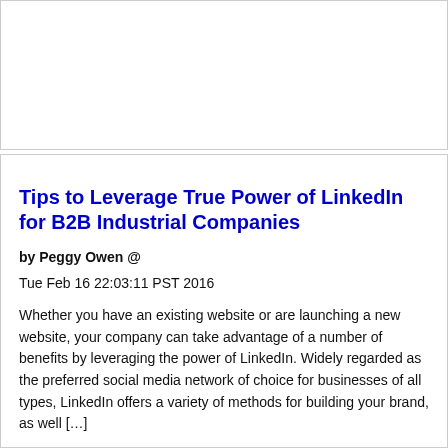Tips to Leverage True Power of LinkedIn for B2B Industrial Companies
by Peggy Owen @
Tue Feb 16 22:03:11 PST 2016
Whether you have an existing website or are launching a new website, your company can take advantage of a number of benefits by leveraging the power of LinkedIn. Widely regarded as the preferred social media network of choice for businesses of all types, LinkedIn offers a variety of methods for building your brand, as well […]
The post Tips to Leverage True Power of LinkedIn for B2B Industrial Companies appeared first on